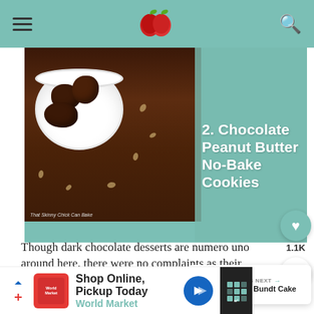Navigation header with hamburger menu, logo (apple/fruit icon), and search icon
[Figure (photo): Photo of chocolate peanut butter no-bake cookies in a white bowl on a wooden background with oats scattered around, with teal overlay showing title text '2. Chocolate Peanut Butter No-Bake Cookies']
2. Chocolate Peanut Butter No-Bake Cookies
Though dark chocolate desserts are numero uno around here, there were no complaints as their generous, self cut wedges drizzled with chocolate ganache, disappeared in a flash.
[Figure (photo): What's Next widget showing a small donut/bundt cake thumbnail with label 'WHAT'S NEXT' and title 'Apple Bundt Cake']
1.1K
Shop Online, Pickup Today — World Market advertisement